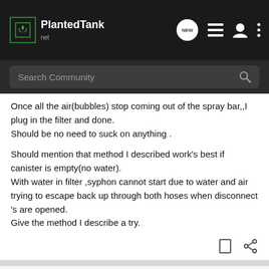PlantedTank - Search Community
Once all the air(bubbles) stop coming out of the spray bar,,I plug in the filter and done.
Should be no need to suck on anything .

Should mention that method I described work's best if canister is empty(no water).
With water in filter ,syphon cannot start due to water and air trying to escape back up through both hoses when disconnect 's are opened.
Give the method I describe a try.
Hmoobthor · Registered
Joined Aug 15, 2011 · 844 Posts